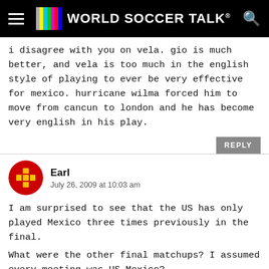World Soccer Talk
i disagree with you on vela. gio is much better, and vela is too much in the english style of playing to ever be very effective for mexico. hurricane wilma forced him to move from cancun to london and he has become very english in his play.
Earl
July 26, 2009 at 10:03 am
I am surprised to see that the US has only played Mexico three times previously in the final.

What were the other final matchups? I assumed every meeting was US-Mexico?
Johnny
July 26, 2009 at 9:51 am